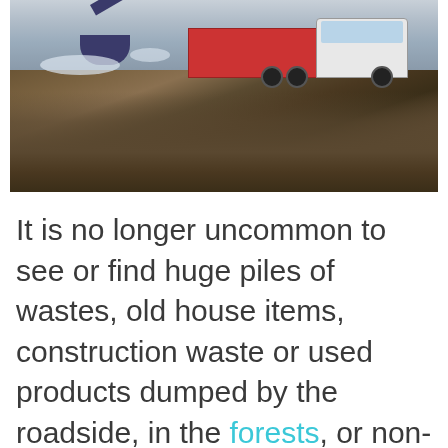[Figure (photo): A large dump truck/lorry unloading waste or construction debris at a landfill or dumping site. A loader/excavator arm is visible on the left, with snow patches and dark earth/rubble ground.]
It is no longer uncommon to see or find huge piles of wastes, old house items, construction waste or used products dumped by the roadside, in the forests, or non-designated dumping sites. This trend is on the rise, and is